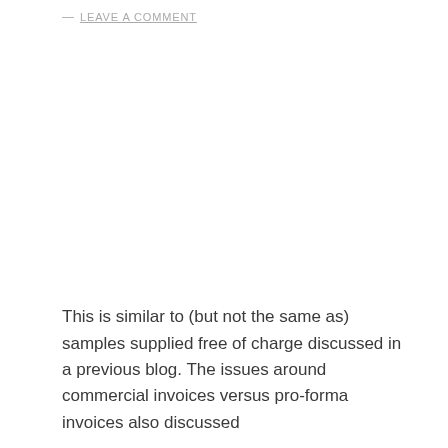— LEAVE A COMMENT
This is similar to (but not the same as) samples supplied free of charge discussed in a previous blog. The issues around commercial invoices versus pro-forma invoices also discussed